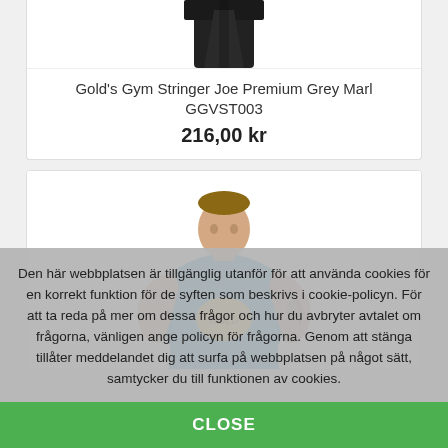[Figure (photo): Product photo of gym stringer top (partially visible, bottom portion of garment), cropped at top]
Gold's Gym Stringer Joe Premium Grey Marl GGVST003
216,00 kr
[Figure (photo): Photo of muscular male model wearing a blue Gold's Gym stringer tank top, with visible tattoos on right arm]
Den här webbplatsen är tillgänglig utanför för att använda cookies för en korrekt funktion för de syften som beskrivs i cookie-policyn. För att ta reda på mer om dessa frågor och hur du avbryter avtalet om frågorna, vänligen ange policyn för frågorna. Genom att stänga tillåter meddelandet dig att surfa på webbplatsen på något sätt, samtycker du till funktionen av cookies.
CLOSE